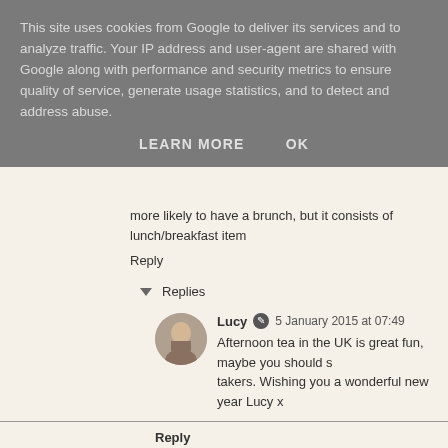This site uses cookies from Google to deliver its services and to analyze traffic. Your IP address and user-agent are shared with Google along with performance and security metrics to ensure quality of service, generate usage statistics, and to detect and address abuse.
LEARN MORE   OK
more likely to have a brunch, but it consists of lunch/breakfast item
Reply
Replies
Lucy  5 January 2015 at 07:49
Afternoon tea in the UK is great fun, maybe you should s... takers. Wishing you a wonderful new year Lucy x
Reply
LuxuryColumnist  4 January 2015 at 18:10
Shame that I couldn't make the Square Meal event. The Latymer lo
Suze | LuxuryColumnist